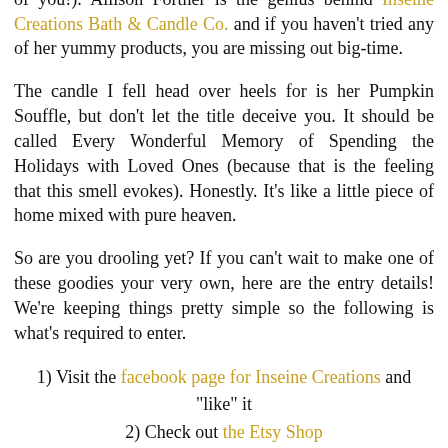all my lovely SBS readers (y'all know I'm always thinking of you!). Allison Fortner is the genius behind Inseine Creations Bath & Candle Co. and if you haven't tried any of her yummy products, you are missing out big-time.
The candle I fell head over heels for is her Pumpkin Souffle, but don't let the title deceive you. It should be called Every Wonderful Memory of Spending the Holidays with Loved Ones (because that is the feeling that this smell evokes). Honestly. It's like a little piece of home mixed with pure heaven.
So are you drooling yet? If you can't wait to make one of these goodies your very own, here are the entry details! We're keeping things pretty simple so the following is what's required to enter.
1) Visit the facebook page for Inseine Creations and "like" it
2) Check out the Etsy Shop
3) Leave me a comment here saying what you'd like to win!
By the way, Allison has agreed to give away one of her 8oz candles (these come in the cute little tins) or if you aren't a